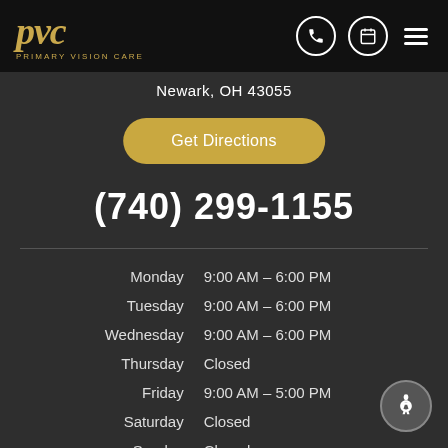Primary Vision Care — PVC logo header with phone, calendar, and menu icons
Newark, OH 43055
Get Directions
(740) 299-1155
| Day | Hours |
| --- | --- |
| Monday | 9:00 AM – 6:00 PM |
| Tuesday | 9:00 AM – 6:00 PM |
| Wednesday | 9:00 AM – 6:00 PM |
| Thursday | Closed |
| Friday | 9:00 AM – 5:00 PM |
| Saturday | Closed |
| Sunday | Closed |